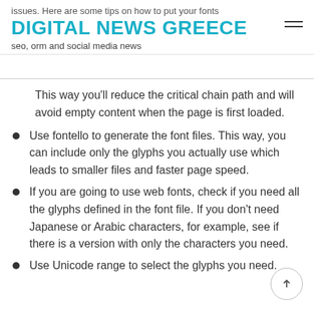issues. Here are some tips on how to put your fonts
DIGITAL NEWS GREECE
seo, orm and social media news
This way you'll reduce the critical chain path and will avoid empty content when the page is first loaded.
Use fontello to generate the font files. This way, you can include only the glyphs you actually use which leads to smaller files and faster page speed.
If you are going to use web fonts, check if you need all the glyphs defined in the font file. If you don't need Japanese or Arabic characters, for example, see if there is a version with only the characters you need.
Use Unicode range to select the glyphs you need.